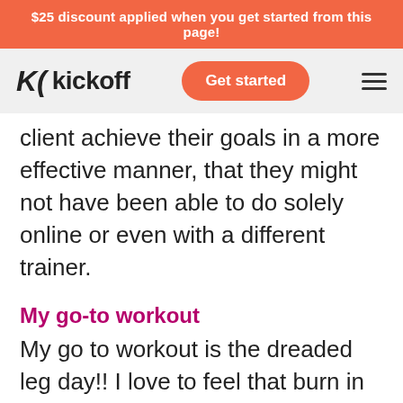$25 discount applied when you get started from this page!
[Figure (logo): Kickoff logo with stylized K icon and 'kickoff' wordmark, plus 'Get started' orange button and hamburger menu icon]
client achieve their goals in a more effective manner, that they might not have been able to do solely online or even with a different trainer.
My go-to workout
My go to workout is the dreaded leg day!! I love to feel that burn in a great leg training session.